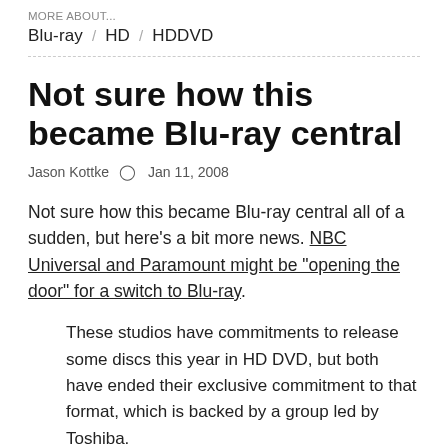MORE ABOUT...
Blu-ray / HD / HDDVD
Not sure how this became Blu-ray central
Jason Kottke  ⊙  Jan 11, 2008
Not sure how this became Blu-ray central all of a sudden, but here's a bit more news. NBC Universal and Paramount might be "opening the door" for a switch to Blu-ray.
These studios have commitments to release some discs this year in HD DVD, but both have ended their exclusive commitment to that format, which is backed by a group led by Toshiba.